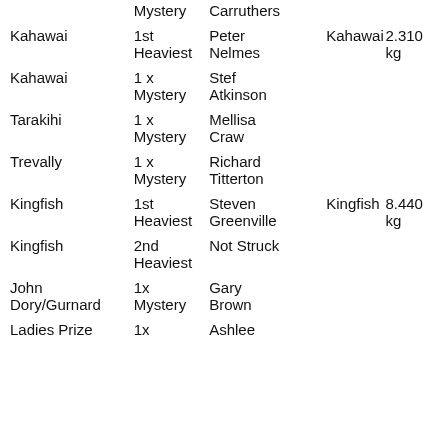| Species | Place | Angler | Fish | Weight |
| --- | --- | --- | --- | --- |
|  | Mystery | Carruthers |  |  |
| Kahawai | 1st Heaviest | Peter Nelmes | Kahawai | 2.310 kg |
| Kahawai | 1x Mystery | Stef Atkinson |  |  |
| Tarakihi | 1x Mystery | Mellisa Craw |  |  |
| Trevally | 1x Mystery | Richard Titterton |  |  |
| Kingfish | 1st Heaviest | Steven Greenville | Kingfish | 8.440 kg |
| Kingfish | 2nd Heaviest | Not Struck |  |  |
| John Dory/Gurnard | 1x Mystery | Gary Brown |  |  |
| Ladies Prize | 1x | Ashlee |  |  |